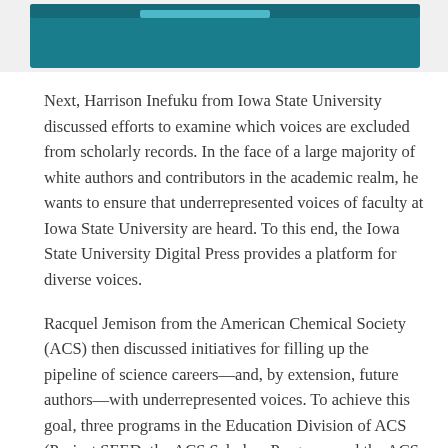[Figure (other): Teal/dark teal header banner image partially visible at the top of the page]
Next, Harrison Inefuku from Iowa State University discussed efforts to examine which voices are excluded from scholarly records. In the face of a large majority of white authors and contributors in the academic realm, he wants to ensure that underrepresented voices of faculty at Iowa State University are heard. To this end, the Iowa State University Digital Press provides a platform for diverse voices.
Racquel Jemison from the American Chemical Society (ACS) then discussed initiatives for filling up the pipeline of science careers—and, by extension, future authors—with underrepresented voices. To achieve this goal, three programs in the Education Division of ACS (Project SEED, the ACS Scholars Program, and the ACS Bridge Project)